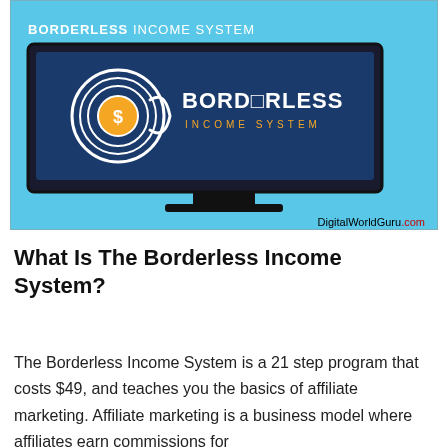all about?
[Figure (illustration): Borderless Income System promotional image showing a computer monitor on a sky-blue background. The monitor displays the Borderless Income System logo — a circular target icon with a dollar sign and the text BORDERLESS INCOME SYSTEM in white and gold. Above the monitor reads 'BORDERLESS INCOME SYSTEM' in bold white/yellow text. Bottom right corner shows 'DigitalWorldGuru.com' in black and red text.]
What Is The Borderless Income System?
The Borderless Income System is a 21 step program that costs $49, and teaches you the basics of affiliate marketing. Affiliate marketing is a business model where affiliates earn commissions for